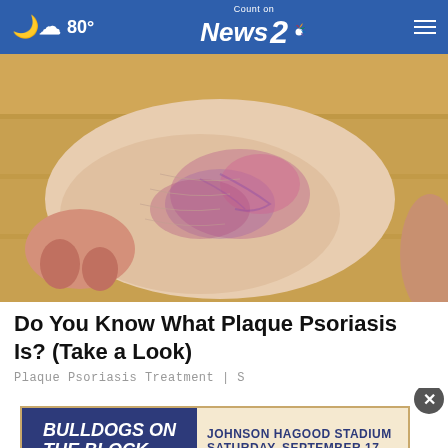80° Count on News 2 NBC
[Figure (photo): Close-up photograph of a human foot and heel with reddish-purple skin condition (plaque psoriasis) on a wooden floor background]
Do You Know What Plaque Psoriasis Is? (Take a Look)
Plaque Psoriasis Treatment | S
[Figure (photo): Partial view of a person with an advertisement overlay for Bulldogs on the Block event]
[Figure (infographic): Advertisement banner: BULLDOGS ON THE BLOCK | JOHNSON HAGOOD STADIUM | SATURDAY, SEPTEMBER 17]